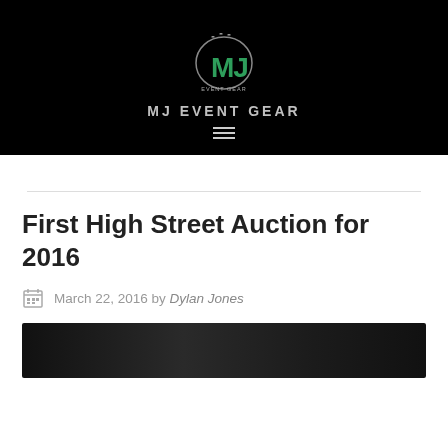MJ EVENT GEAR
First High Street Auction for 2016
March 22, 2016 by Dylan Jones
[Figure (photo): Dark thumbnail image strip at bottom of page]